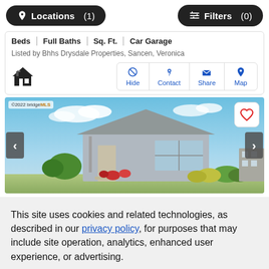Locations (1)   Filters (0)
| Beds | Full Baths | Sq. Ft. | Car Garage |
| --- | --- | --- | --- |
Listed by Bhhs Drysdale Properties, Sancen, Veronica
[Figure (screenshot): Action buttons: Hide, Contact, Share, Map]
[Figure (photo): Exterior photo of a manufactured home with blue sky background, flowers and shrubs in front. ©2022 bridgeMLS watermark top left. Heart/favorite button top right. Left/right carousel arrows.]
This site uses cookies and related technologies, as described in our privacy policy, for purposes that may include site operation, analytics, enhanced user experience, or advertising.
Manage Preferences   Accept